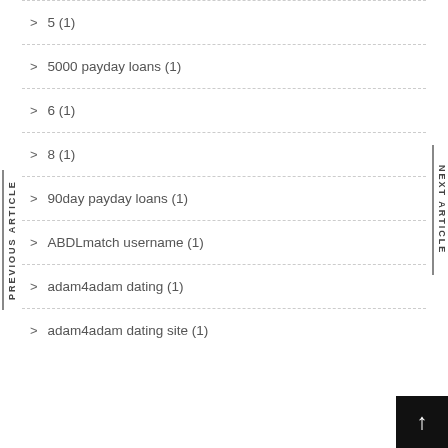5 (1)
5000 payday loans (1)
6 (1)
8 (1)
90day payday loans (1)
ABDLmatch username (1)
adam4adam dating (1)
adam4adam dating site (1)